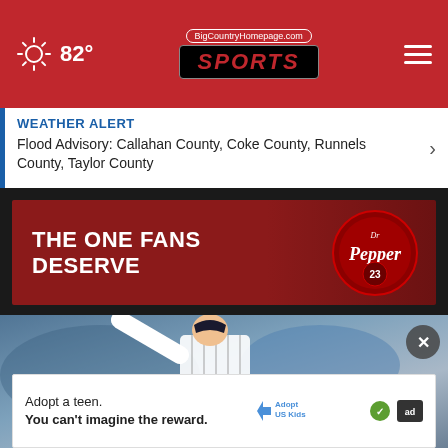BigCountryHomepage.com SPORTS | 82°
WEATHER ALERT
Flood Advisory: Callahan County, Coke County, Runnels County, Taylor County
[Figure (photo): Dr Pepper advertisement banner reading 'THE ONE FANS DESERVE' with Dr Pepper logo]
[Figure (photo): Baseball pitcher in New York Yankees pinstripe uniform in pitching motion]
[Figure (photo): Advertisement: Adopt a teen. You can't imagine the reward. Adopt US Kids logo.]